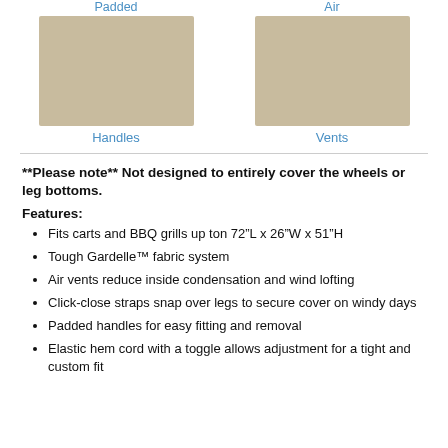[Figure (photo): Two cropped product photos showing padded handles (left) and air vents (right) of a grill cover, with labels 'Padded' and 'Air' partially visible at top, and 'Handles' and 'Vents' labels below each image.]
**Please note** Not designed to entirely cover the wheels or leg bottoms.
Features:
Fits carts and BBQ grills up ton 72"L x 26"W x 51"H
Tough Gardelle™ fabric system
Air vents reduce inside condensation and wind lofting
Click-close straps snap over legs to secure cover on windy days
Padded handles for easy fitting and removal
Elastic hem cord with a toggle allows adjustment for a tight and custom fit